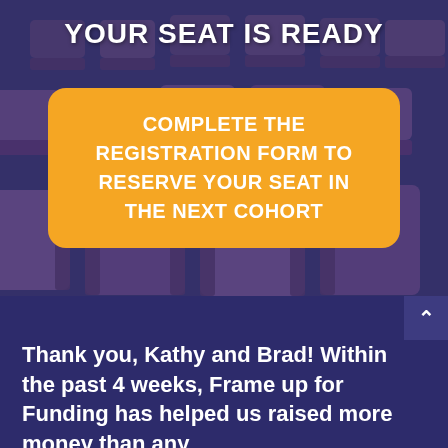YOUR SEAT IS READY
COMPLETE THE REGISTRATION FORM TO RESERVE YOUR SEAT IN THE NEXT COHORT
Thank you, Kathy and Brad! Within the past 4 weeks, Frame up for Funding has helped us raised more money than any